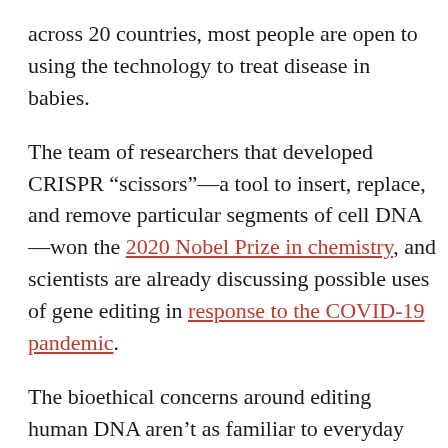across 20 countries, most people are open to using the technology to treat disease in babies.
The team of researchers that developed CRISPR “scissors”—a tool to insert, replace, and remove particular segments of cell DNA—won the 2020 Nobel Prize in chemistry, and scientists are already discussing possible uses of gene editing in response to the COVID-19 pandemic.
The bioethical concerns around editing human DNA aren’t as familiar to everyday Christians as abortion and assisted suicide, medical ethicist Daniel J. Hurst told CT, but they are growing more urgent.
In 2018, a Chinese scientist performed experimental gene editing on a set of twins, altering their DNA to